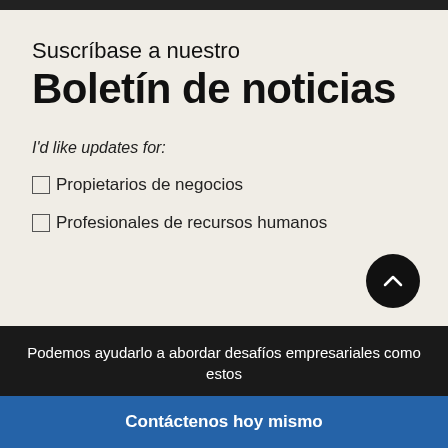Suscríbase a nuestro
Boletín de noticias
I'd like updates for:
Propietarios de negocios
Profesionales de recursos humanos
Podemos ayudarlo a abordar desafíos empresariales como estos
Contáctenos hoy mismo